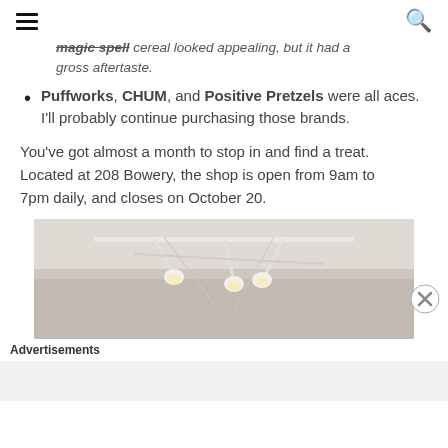Navigation header with hamburger menu and search icon
magic spell cereal looked appealing, but it had a gross aftertaste.
Puffworks, CHUM, and Positive Pretzels were all aces. I'll probably continue purchasing those brands.
You've got almost a month to stop in and find a treat. Located at 208 Bowery, the shop is open from 9am to 7pm daily, and closes on October 20.
[Figure (photo): Interior photo showing track lighting fixtures mounted on ceiling with white walls and draped fabric]
Advertisements